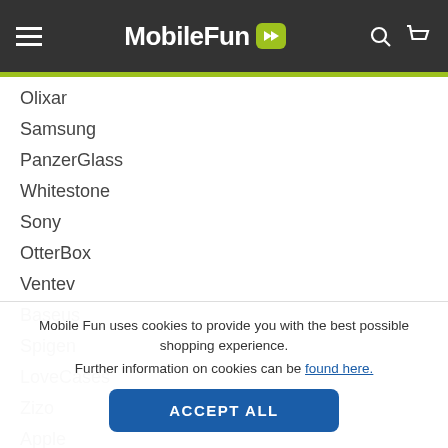MobileFun
Olixar
Samsung
PanzerGlass
Whitestone
Sony
OtterBox
Ventev
Baseus
Spigen
LoveCases
Zizo
Apple
Mobile Fun uses cookies to provide you with the best possible shopping experience. Further information on cookies can be found here.
ACCEPT ALL